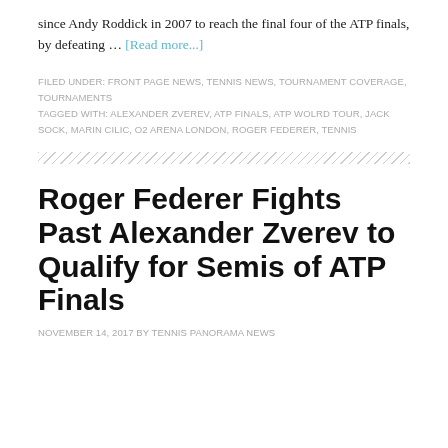since Andy Roddick in 2007 to reach the final four of the ATP finals, by defeating … [Read more...]
FILED UNDER: FRONT PAGE NEWS, TENNIS NEWS, TOURNAMENT COVERAGE, TOURNAMENTS
TAGGED WITH: ALEXANDER ZVEREV, ATP FINALS, ATP WOLRD TOUR, JACK SOCK, MARIN CILIC, O2 ARENA LONDON, ROGER FEDERER, TENNIS
Roger Federer Fights Past Alexander Zverev to Qualify for Semis of ATP Finals
NOVEMBER 14, 2017 BY TENNIS PANORAMA NEWS